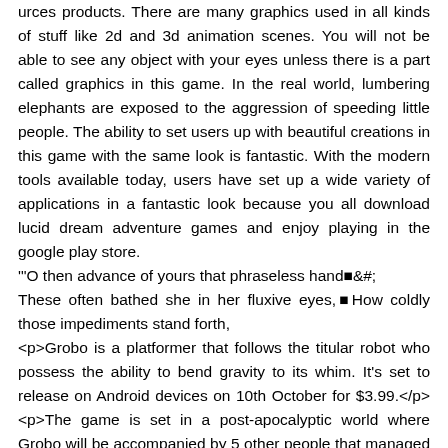urces products. There are many graphics used in all kinds of stuff like 2d and 3d animation scenes. You will not be able to see any object with your eyes unless there is a part called graphics in this game. In the real world, lumbering elephants are exposed to the aggression of speeding little people. The ability to set users up with beautiful creations in this game with the same look is fantastic. With the modern tools available today, users have set up a wide variety of applications in a fantastic look because you all download lucid dream adventure games and enjoy playing in the google play store.
"'O then advance of yours that phraseless hand■&#;
These often bathed she in her fluxive eyes,■How coldly those impediments stand forth,
<p>Grobo is a platformer that follows the titular robot who possess the ability to bend gravity to its whim. It's set to release on Android devices on 10th October for $3.99.</p><p>The game is set in a post-apocalyptic world where Grobo will be accompanied by 5 other people that managed to survive the impending doom by hiding in a v